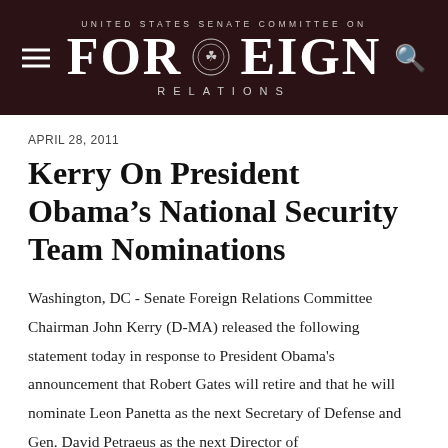UNITED STATES SENATE COMMITTEE ON FOREIGN RELATIONS
APRIL 28, 2011
Kerry On President Obama's National Security Team Nominations
Washington, DC - Senate Foreign Relations Committee Chairman John Kerry (D-MA) released the following statement today in response to President Obama's announcement that Robert Gates will retire and that he will nominate Leon Panetta as the next Secretary of Defense and Gen. David Petraeus as the next Director of